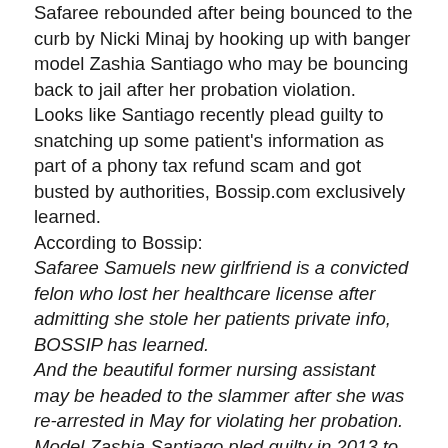Safaree rebounded after being bounced to the curb by Nicki Minaj by hooking up with banger model Zashia Santiago who may be bouncing back to jail after her probation violation.
Looks like Santiago recently plead guilty to snatching up some patient's information as part of a phony tax refund scam and got busted by authorities, Bossip.com exclusively learned.
According to Bossip:
Safaree Samuels new girlfriend is a convicted felon who lost her healthcare license after admitting she stole her patients private info, BOSSIP has learned.
And the beautiful former nursing assistant may be headed to the slammer after she was re-arrested in May for violating her probation.
Model Zashia Santiago pled guilty in 2013 to one count of felony possession of 15 or more unauthorized access devices after she copped to swiping 20 hospital patient's names, dates of birth, social security numbers and